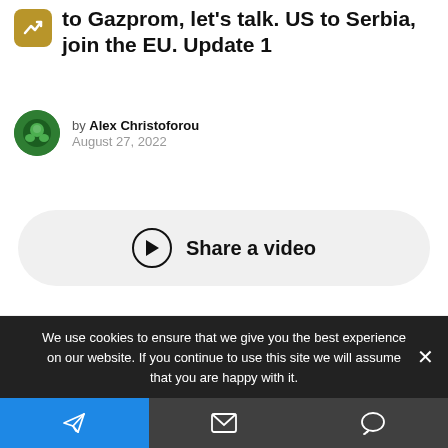to Gazprom, let's talk. US to Serbia, join the EU. Update 1
by Alex Christoforou
August 27, 2022
[Figure (other): Share a video button with play icon]
The Duran Newsletter
We use cookies to ensure that we give you the best experience on our website. If you continue to use this site we will assume that you are happy with it.
[Figure (other): Bottom navigation bar with Telegram, email, and chat icons]